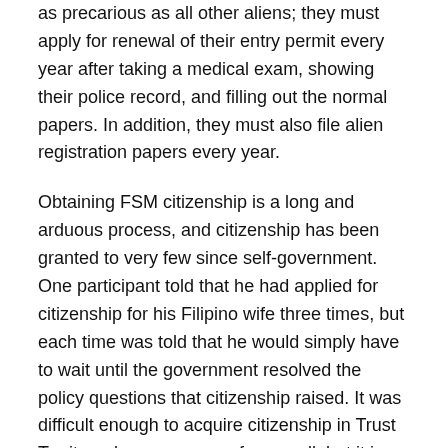as precarious as all other aliens; they must apply for renewal of their entry permit every year after taking a medical exam, showing their police record, and filling out the normal papers. In addition, they must also file alien registration papers every year.
Obtaining FSM citizenship is a long and arduous process, and citizenship has been granted to very few since self-government. One participant told that he had applied for citizenship for his Filipino wife three times, but each time was told that he would simply have to wait until the government resolved the policy questions that citizenship raised. It was difficult enough to acquire citizenship in Trust Territory days, as some of us recall, but it is nearly impossible now. There are good reasons for the government to be extremely careful in granting citizenship. FSM is a small nation and so has to take pains to protect its scarce resources and small population; otherwise, it would run the risk of being swamped. But perhaps the time has come for the FSM government to review the process of naturalization. A waiting period of five or ten years would guard against marriages of